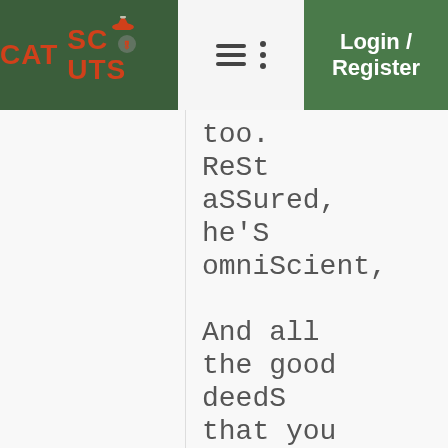CAT SCOUTS | Login / Register
too.
Rest assured,
he's omniscient,

And all the good deeds that you do are Sufficient